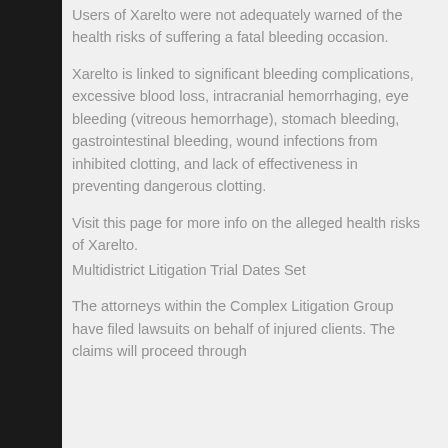Users of Xarelto were not adequately warned of the health risks of suffering a fatal bleeding occasion.
Xarelto is linked to significant bleeding complications, excessive blood loss, intracranial hemorrhaging, eye bleeding (vitreous hemorrhage), stomach bleeding, gastrointestinal bleeding, wound infections from inhibited clotting, and lack of effectiveness in preventing dangerous clotting.
Visit this page for more info on the alleged health risks of Xarelto.
Multidistrict Litigation Trial Dates Set
The attorneys within the Complex Litigation Group have filed lawsuits on behalf of injured clients. The claims will proceed through